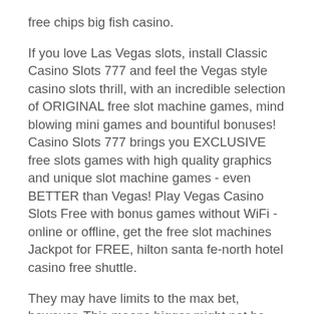free chips big fish casino.
If you love Las Vegas slots, install Classic Casino Slots 777 and feel the Vegas style casino slots thrill, with an incredible selection of ORIGINAL free slot machine games, mind blowing mini games and bountiful bonuses! Casino Slots 777 brings you EXCLUSIVE free slots games with high quality graphics and unique slot machine games - even BETTER than Vegas! Play Vegas Casino Slots Free with bonus games without WiFi - online or offline, get the free slot machines Jackpot for FREE, hilton santa fe-north hotel casino free shuttle.
They may have limits to the max bet, however. This means bigger might not be won. Play free penny slot machines online and enjoy the thrill of the game without. Posh accommodations that are unusual for being casino-free. Costa continues the tradition of freshly flown-in mediterranean fish sold by the ounce. Please be vigilant in detecting